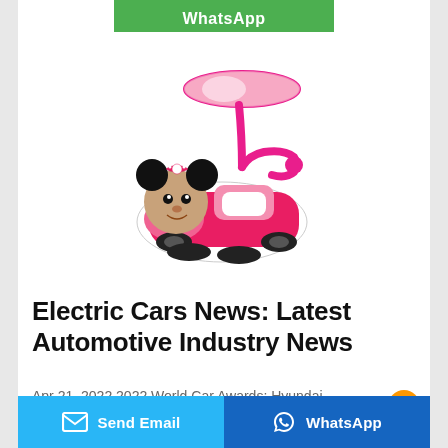[Figure (other): WhatsApp green button partially visible at top of page]
[Figure (photo): Pink Minnie Mouse themed children's ride-on toy car with a handle/shade canopy on top and Minnie Mouse face at the front]
Electric Cars News: Latest Automotive Industry News
Apr 21, 2022·2022 World Car Awards: Hyundai
[Figure (other): Send Email button (light blue) and WhatsApp button (dark blue) at bottom of page]